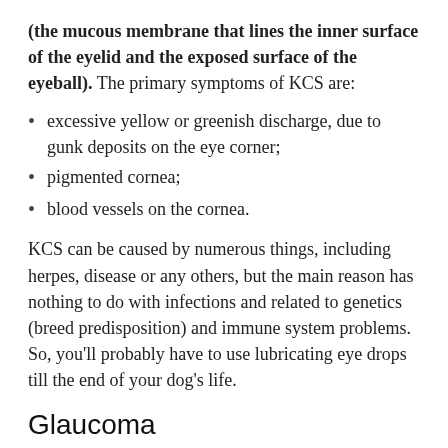(the mucous membrane that lines the inner surface of the eyelid and the exposed surface of the eyeball). The primary symptoms of KCS are:
excessive yellow or greenish discharge, due to gunk deposits on the eye corner;
pigmented cornea;
blood vessels on the cornea.
KCS can be caused by numerous things, including herpes, disease or any others, but the main reason has nothing to do with infections and related to genetics (breed predisposition) and immune system problems. So, you’ll probably have to use lubricating eye drops till the end of your dog’s life.
Glaucoma
The symptoms of this very serious disease include: